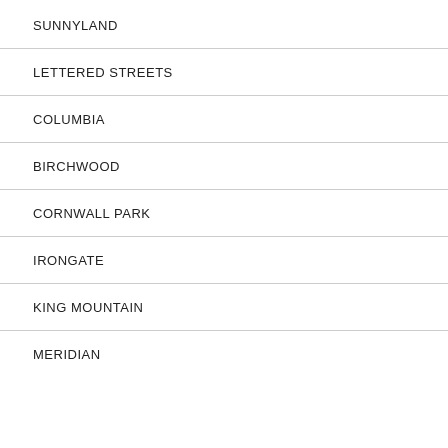SUNNYLAND
LETTERED STREETS
COLUMBIA
BIRCHWOOD
CORNWALL PARK
IRONGATE
KING MOUNTAIN
MERIDIAN